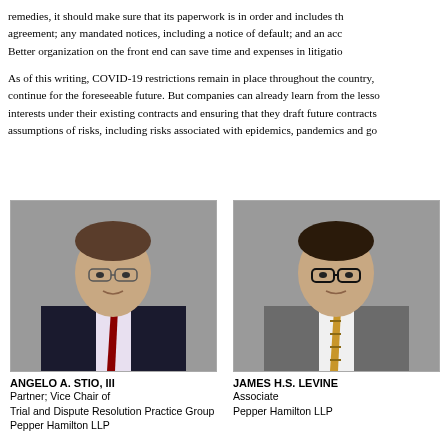remedies, it should make sure that its paperwork is in order and includes the agreement; any mandated notices, including a notice of default; and an acc Better organization on the front end can save time and expenses in litigatio
As of this writing, COVID-19 restrictions remain in place throughout the country, continue for the foreseeable future. But companies can already learn from the less interests under their existing contracts and ensuring that they draft future contracts assumptions of risks, including risks associated with epidemics, pandemics and go
[Figure (photo): Professional headshot of Angelo A. Stio, III — man with glasses wearing a dark suit and red tie]
ANGELO A. STIO, III
Partner; Vice Chair of
Trial and Dispute Resolution Practice Group
Pepper Hamilton LLP
[Figure (photo): Professional headshot of James H.S. Levine — man with glasses wearing a grey suit and gold striped tie]
JAMES H.S. LEVINE
Associate
Pepper Hamilton LLP